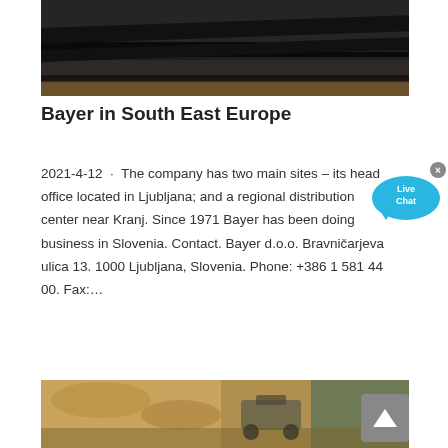[Figure (photo): Dark industrial equipment, likely a conveyor belt or industrial machinery panel, black metal structure viewed from the side on a transport vehicle.]
Bayer in South East Europe
2021-4-12  ·  The company has two main sites – its head office located in Ljubljana; and a regional distribution center near Kranj. Since 1971 Bayer has been doing business in Slovenia. Contact. Bayer d.o.o. Bravničarjeva ulica 13. 1000 Ljubljana, Slovenia. Phone: +386 1 581 44 00. Fax:…
[Figure (photo): Outdoor scene with construction or mining equipment in a rocky/earthen landscape with yellowish-brown terrain.]